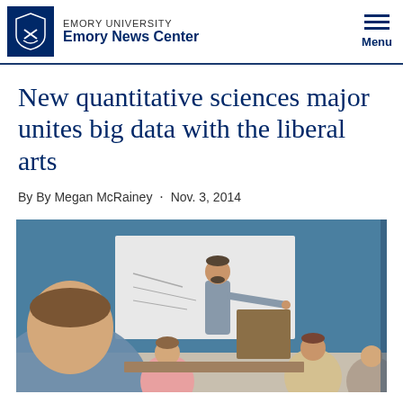EMORY UNIVERSITY Emory News Center
New quantitative sciences major unites big data with the liberal arts
By By Megan McRainey · Nov. 3, 2014
[Figure (photo): A professor pointing at a whiteboard in a classroom, with students seated and watching from the foreground.]